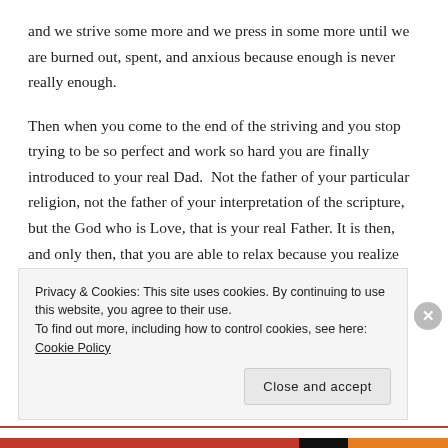and we strive some more and we press in some more until we are burned out, spent, and anxious because enough is never really enough.
Then when you come to the end of the striving and you stop trying to be so perfect and work so hard you are finally introduced to your real Dad.  Not the father of your particular religion, not the father of your interpretation of the scripture, but the God who is Love, that is your real Father. It is then, and only then, that you are able to relax because you realize that He isn't waiting on you to get your work done.  He has been waiting on you to realize that He already did all the
Privacy & Cookies: This site uses cookies. By continuing to use this website, you agree to their use.
To find out more, including how to control cookies, see here: Cookie Policy